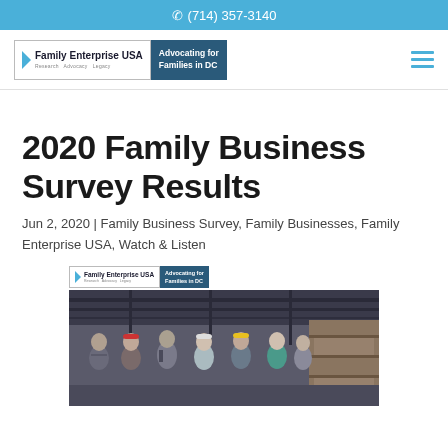(714) 357-3140
[Figure (logo): Family Enterprise USA logo with 'Advocating for Families in DC' tagline and hamburger menu]
2020 Family Business Survey Results
Jun 2, 2020 | Family Business Survey, Family Businesses, Family Enterprise USA, Watch & Listen
[Figure (photo): Family Enterprise USA logo above a photo of six workers in a warehouse wearing hard hats, including men and women of various ages]